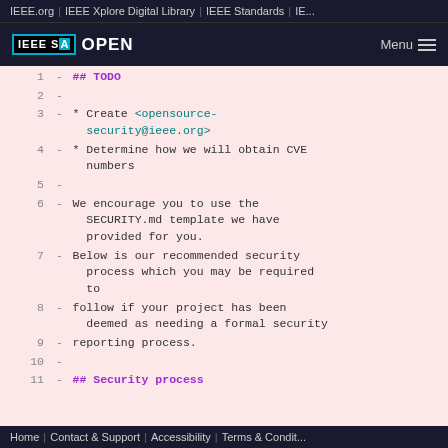IEEE.org  |  IEEE Xplore Digital Library  |  IEEE Standards  |  IE...
[Figure (screenshot): IEEE SA Open logo with dark background header bar and Menu hamburger icon]
1  -  ## TODO
2  -
3  -  * Create <opensource-security@ieee.org>
4  -  * Determine how we will obtain CVE numbers
5  -
6  -  We encourage you to use the SECURITY.md template we have provided for you.
7  -  Below is our recommended security process which you may be required to
8  -  follow if your project has been deemed as needing a formal security
9  -  reporting process.
10  -
11  -  ## Security process
Home  |  Contact & Support  |  Accessibility  |  Terms & Condit...